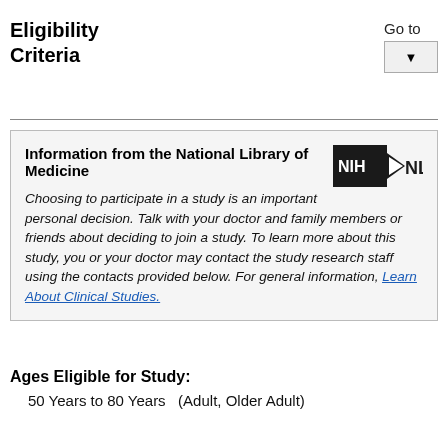Eligibility Criteria
Go to
[Figure (other): Dropdown button with downward arrow]
[Figure (logo): NIH NLM logo — black pentagon shape with NIH and arrow pointing right, followed by NLM text]
Information from the National Library of Medicine
Choosing to participate in a study is an important personal decision. Talk with your doctor and family members or friends about deciding to join a study. To learn more about this study, you or your doctor may contact the study research staff using the contacts provided below. For general information, Learn About Clinical Studies.
Ages Eligible for Study:
50 Years to 80 Years   (Adult, Older Adult)